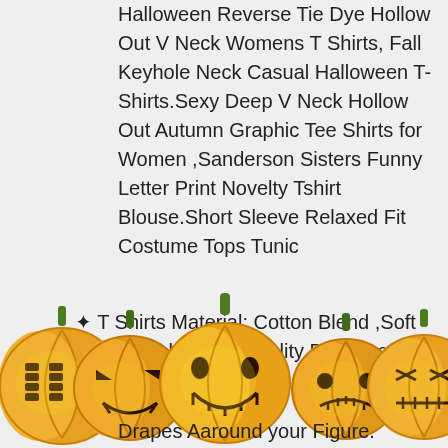Halloween Reverse Tie Dye Hollow Out V Neck Womens T Shirts, Fall Keyhole Neck Casual Halloween T-Shirts.Sexy Deep V Neck Hollow Out Autumn Graphic Tee Shirts for Women ,Sanderson Sisters Funny Letter Print Novelty Tshirt Blouse.Short Sleeve Relaxed Fit Costume Tops Tunic
✦ T Shirts Material: Cotton Blend ,Soft Comfortable ,High Quality Boutique, Constructed
[Figure (illustration): Five carved Halloween jack-o-lantern pumpkins in a row at the bottom of the page, orange with green stems, each with different carved face expressions]
Drapes Aaround your Figure.